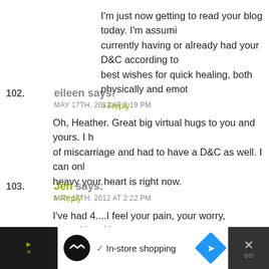I'm just now getting to read your blog today. I'm assuming you are currently having or already had your D&C according to the time. My best wishes for quick healing, both physically and emotionally.
> Reply
102. eileen says: MAY 17TH, 2012 AT 2:19 PM
Oh, Heather. Great big virtual hugs to you and yours. I have a history of miscarriage and had to have a D&C as well. I can only imagine how heavy your heart is right now.
> Reply
103. Jen says: MAY 17TH, 2012 AT 2:22 PM
I've had 4....I feel your pain, your worry, everything. Han
> Reply
[Figure (other): Advertisement banner at bottom of page showing In-store shopping ad with black background and icons]